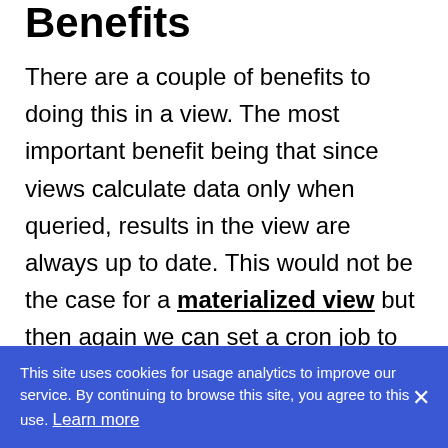Benefits
There are a couple of benefits to doing this in a view. The most important benefit being that since views calculate data only when queried, results in the view are always up to date. This would not be the case for a materialized view but then again we can set a cron job to periodically update the view.
Another benefit of a view is that we can
This site uses cookies for usage analytics to improve our service. By continuing to browse this site, you agree to this use. Learn more